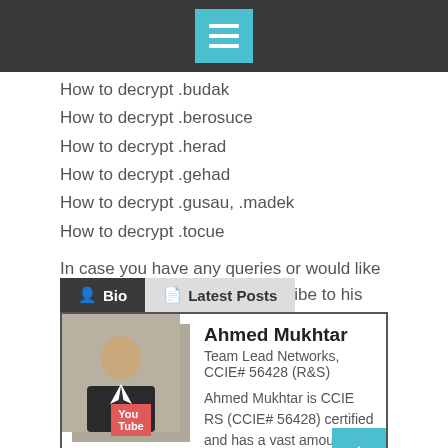[Navigation menu button]
How to decrypt .budak
How to decrypt .berosuce
How to decrypt .herad
How to decrypt .gehad
How to decrypt .gusau, .madek
How to decrypt .tocue
In case you have any queries or would like to follow Ahmed, please subscribe to his Youtube channel called, Doctor Networks.
Bio | Latest Posts
Ahmed Mukhtar
Team Lead Networks, CCIE# 56428 (R&S)
Ahmed Mukhtar is CCIE RS (CCIE# 56428) certified and has a vast amount of experience in Cisco